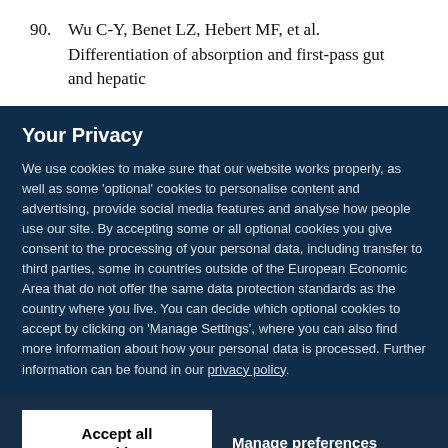90. Wu C-Y, Benet LZ, Hebert MF, et al. Differentiation of absorption and first-pass gut and hepatic
Your Privacy
We use cookies to make sure that our website works properly, as well as some 'optional' cookies to personalise content and advertising, provide social media features and analyse how people use our site. By accepting some or all optional cookies you give consent to the processing of your personal data, including transfer to third parties, some in countries outside of the European Economic Area that do not offer the same data protection standards as the country where you live. You can decide which optional cookies to accept by clicking on 'Manage Settings', where you can also find more information about how your personal data is processed. Further information can be found in our privacy policy.
Accept all cookies
Manage preferences